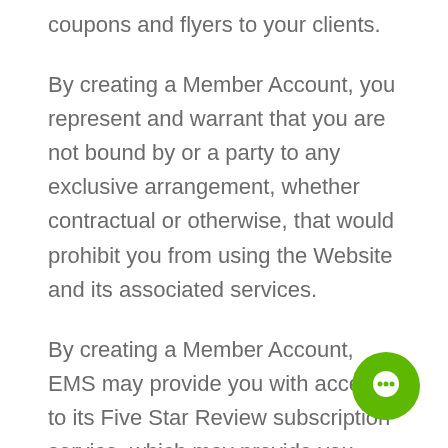coupons and flyers to your clients.
By creating a Member Account, you represent and warrant that you are not bound by or a party to any exclusive arrangement, whether contractual or otherwise, that would prohibit you from using the Website and its associated services.
By creating a Member Account, EMS may provide you with access to its Five Star Review subscription service, which may provide you with the ability to send your